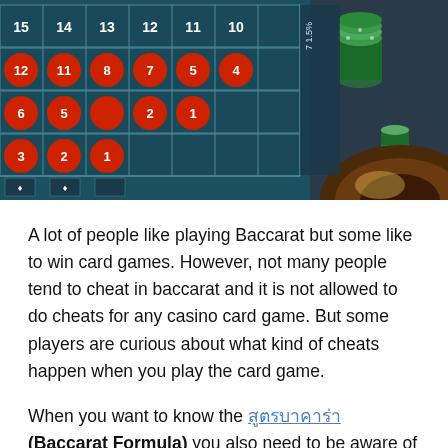[Figure (photo): Overhead view of a casino roulette/baccarat table with a green felt surface showing numbered red circles (1-15 visible), white grid lines, casino chips stacked on the right side, and a wooden roulette wheel visible at the bottom right corner.]
A lot of people like playing Baccarat but some like to win card games. However, not many people tend to cheat in baccarat and it is not allowed to do cheats for any casino card game. But some players are curious about what kind of cheats happen when you play the card game.
When you want to know the สูตรบาคาร่า (Baccarat Formula) you also need to be aware of what cheats need to be avoided. Here several cheating practices are discussed for awareness. If one gets caught cheating then they may be looking at some jail time. These techniques have been known to cheaters for a long time and are now also known to the public.